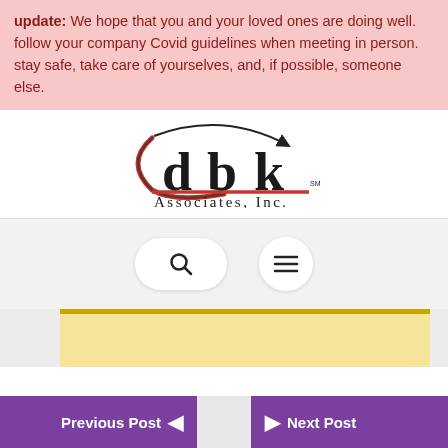update: We hope that you and your loved ones are doing well. follow your company Covid guidelines when meeting in person. stay safe, take care of yourselves, and, if possible, someone else.
[Figure (logo): dbk Associates, Inc. logo with swoosh design in dark red and black]
[Figure (screenshot): Website navigation icons: search (magnifying glass) button and hamburger menu button, both in circular white buttons on light gray background]
[Figure (photo): Partial view of a photo with yellow/gold tones at the bottom of the page]
Previous Post   Next Post